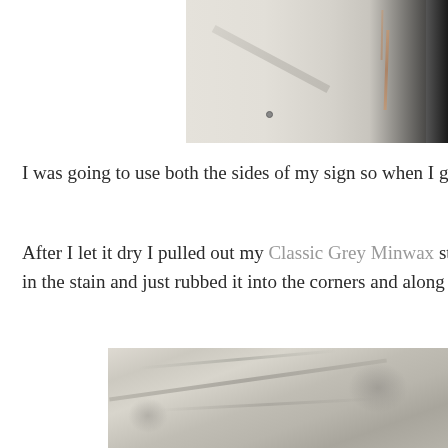[Figure (photo): Close-up photo of a white painted wooden sign showing a corner seam, a rust streak, and a screw, with a dark background on the right side.]
I was going to use both the sides of my sign so when I got bore
After I let it dry I pulled out my Classic Grey Minwax stain ar
in the stain and just rubbed it into the corners and along the edg
[Figure (photo): Photo of a crumpled cloth or rag with grey stain applied, showing folds and dark patches of stain on the fabric.]